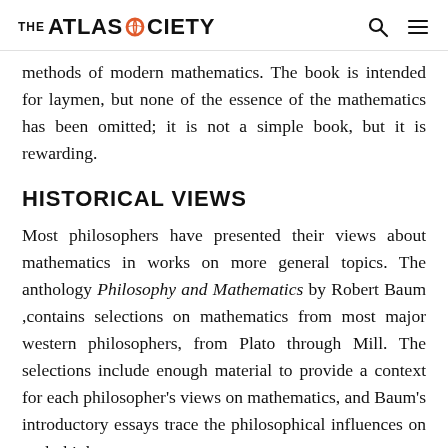THE ATLAS SOCIETY
methods of modern mathematics. The book is intended for laymen, but none of the essence of the mathematics has been omitted; it is not a simple book, but it is rewarding.
HISTORICAL VIEWS
Most philosophers have presented their views about mathematics in works on more general topics. The anthology Philosophy and Mathematics by Robert Baum ,contains selections on mathematics from most major western philosophers, from Plato through Mill. The selections include enough material to provide a context for each philosopher's views on mathematics, and Baum's introductory essays trace the philosophical influences on each thinker.